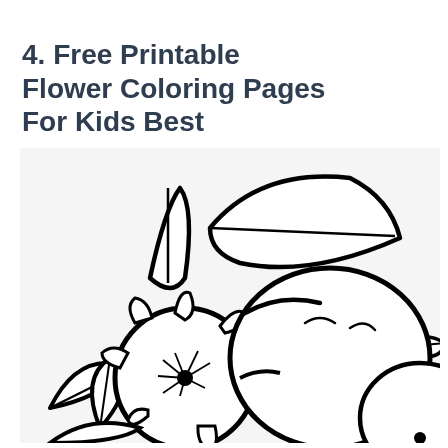4. Free Printable Flower Coloring Pages For Kids Best
[Figure (illustration): Black and white line drawing coloring page showing large tropical flowers (plumeria/frangipani) with petals, leaves, and a center dot, designed for kids to color in.]